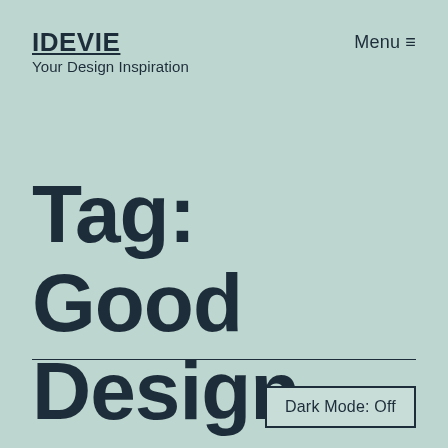IDEVIE
Your Design Inspiration
Menu ☰
Tag: Good Design
Dark Mode: Off